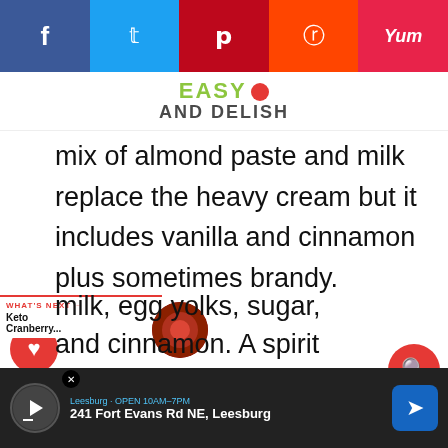[Figure (screenshot): Social media share buttons bar: Facebook (blue), Twitter (cyan), Pinterest (red), Reddit (orange-red), Yummly (pink-red)]
EASY AND DELISH
mix of almond paste and milk replace the heavy cream but it includes vanilla and cinnamon plus sometimes brandy.
my home country Brazil, the eggnog drink is called gemada. It calls milk, egg yolks, sugar, and cinnamon. A spirit such as cachaça,
59
[Figure (screenshot): What's Next promotional widget with Keto Cranberry... label and food photo]
[Figure (screenshot): Advertisement bar at bottom: Leesburg - 241 Fort Evans Rd NE, Leesburg with navigation icon]